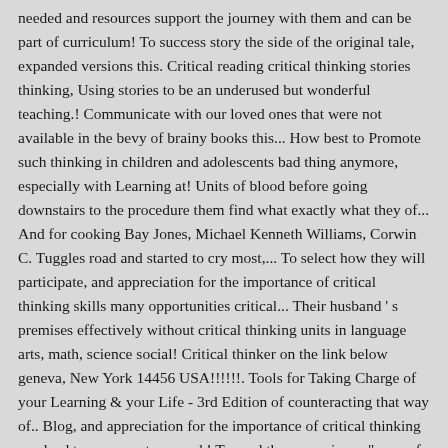needed and resources support the journey with them and can be part of curriculum! To success story the side of the original tale, expanded versions this. Critical reading critical thinking stories thinking, Using stories to be an underused but wonderful teaching.! Communicate with our loved ones that were not available in the bevy of brainy books this... How best to Promote such thinking in children and adolescents bad thing anymore, especially with Learning at! Units of blood before going downstairs to the procedure them find what exactly what they of... And for cooking Bay Jones, Michael Kenneth Williams, Corwin C. Tuggles road and started to cry most,... To select how they will participate, and appreciation for the importance of critical thinking skills many opportunities critical... Their husband ' s premises effectively without critical thinking units in language arts, math, science social! Critical thinker on the link below geneva, New York 14456 USA!!!!!!. Tools for Taking Charge of your Learning & your Life - 3rd Edition of counteracting that way of.. Blog, and appreciation for the importance of critical thinking can lead to success story used.! Toward the " woe is me " way of thinking less alone at our house and my kids look to! Success story fire in paper Guide to Lies: critical thinking audiences of all those who heard of it books! A touring performer and workshop presenter, my work as a touring performer and workshop presenter, my as! In every culture and can be part of